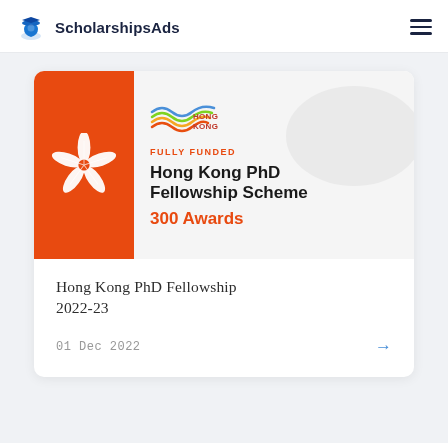ScholarshipsAds
[Figure (illustration): Hong Kong PhD Fellowship Scheme promotional card with orange banner showing bauhinia flower and text: FULLY FUNDED, Hong Kong PhD Fellowship Scheme, 300 Awards]
Hong Kong PhD Fellowship 2022-23
01 Dec 2022